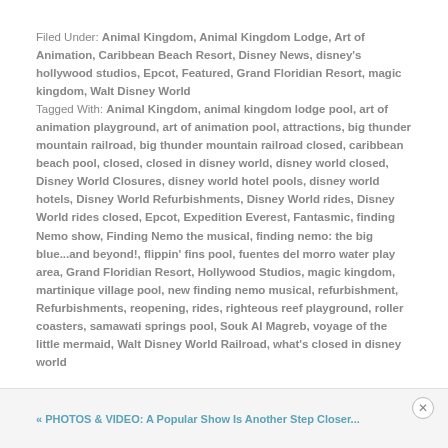Filed Under: Animal Kingdom, Animal Kingdom Lodge, Art of Animation, Caribbean Beach Resort, Disney News, disney's hollywood studios, Epcot, Featured, Grand Floridian Resort, magic kingdom, Walt Disney World
Tagged With: Animal Kingdom, animal kingdom lodge pool, art of animation playground, art of animation pool, attractions, big thunder mountain railroad, big thunder mountain railroad closed, caribbean beach pool, closed, closed in disney world, disney world closed, Disney World Closures, disney world hotel pools, disney world hotels, Disney World Refurbishments, Disney World rides, Disney World rides closed, Epcot, Expedition Everest, Fantasmic, finding Nemo show, Finding Nemo the musical, finding nemo: the big blue...and beyond!, flippin' fins pool, fuentes del morro water play area, Grand Floridian Resort, Hollywood Studios, magic kingdom, martinique village pool, new finding nemo musical, refurbishment, Refurbishments, reopening, rides, righteous reef playground, roller coasters, samawati springs pool, Souk Al Magreb, voyage of the little mermaid, Walt Disney World Railroad, what's closed in disney world
« PHOTOS & VIDEO: A Popular Show Is Another Step Closer...